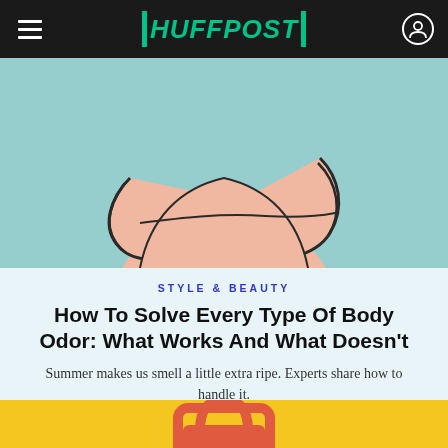HUFFPOST
[Figure (illustration): Illustration of a person's torso with arms crossed, on a teal/mint background, cropped to show shoulders and arms]
STYLE & BEAUTY
How To Solve Every Type Of Body Odor: What Works And What Doesn't
Summer makes us smell a little extra ripe. Experts share how to handle it.
[Figure (illustration): Bottom portion of page showing a yellow background with the top of a red/orange illustrated lock icon visible]